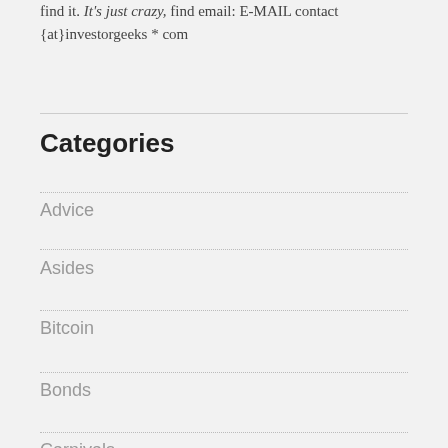{at}investorgeeks * com
Categories
Advice
Asides
Bitcoin
Bonds
Carnivals